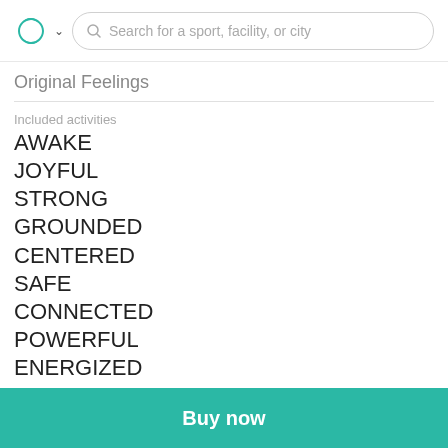Search for a sport, facility, or city
Original Feelings
Included activities
AWAKE
JOYFUL
STRONG
GROUNDED
CENTERED
SAFE
CONNECTED
POWERFUL
ENERGIZED
Buy now